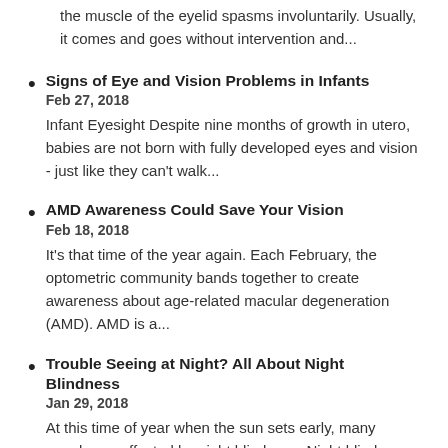We all experience the occasional eyelid twitch, which is when the muscle of the eyelid spasms involuntarily. Usually, it comes and goes without intervention and...
Signs of Eye and Vision Problems in Infants
Feb 27, 2018
Infant Eyesight Despite nine months of growth in utero, babies are not born with fully developed eyes and vision - just like they can't walk...
AMD Awareness Could Save Your Vision
Feb 18, 2018
It's that time of the year again. Each February, the optometric community bands together to create awareness about age-related macular degeneration (AMD). AMD is a...
Trouble Seeing at Night? All About Night Blindness
Jan 29, 2018
At this time of year when the sun sets early, many people are affected by night blindness. Night blindness or nyctalopia refers to difficulty seeing at...
The Sneak Thief of Sight